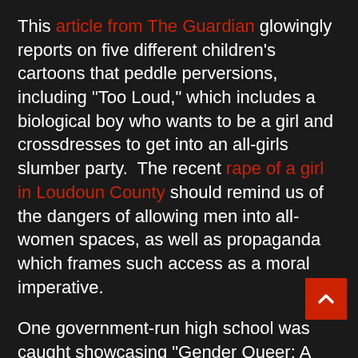This article from The Guardian glowingly reports on five different children's cartoons that peddle perversions, including "Too Loud," which includes a biological boy who wants to be a girl and crossdresses to get into an all-girls slumber party. The recent rape of a girl in Loudoun County should remind us of the dangers of allowing men into all-women spaces, as well as propaganda which frames such access as a moral imperative.
One government-run high school was caught showcasing "Gender Queer: A Memoir," a book of gay pornography that also featured confusion surrounding gender identity in its library, a heinous move that the superintendent defended. The book was also specifically promoted to children by both an offshoot of the American Library Association and School Library Journal.
A different book titled "Beyond the Gender Binary" is